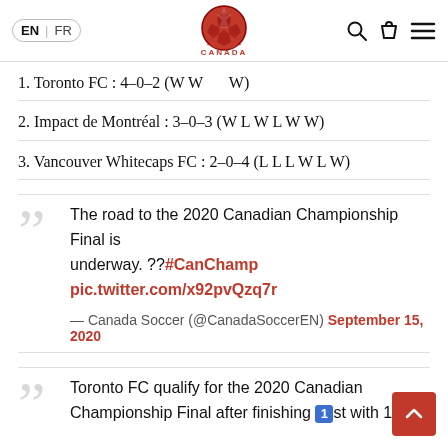EN FR | Canada Soccer logo | Search, Cart, Menu icons
1. Toronto FC : 4-0-2 (W W W)
2. Impact de Montréal : 3-0-3 (W L W L W W)
3. Vancouver Whitecaps FC : 2-0-4 (L L L W L W)
The road to the 2020 Canadian Championship Final is underway. ?? #CanChamp pic.twitter.com/x92pvQzq7r
— Canada Soccer (@CanadaSoccerEN) September 15, 2020
Toronto FC qualify for the 2020 Canadian Championship Final after finishing 1st with 12